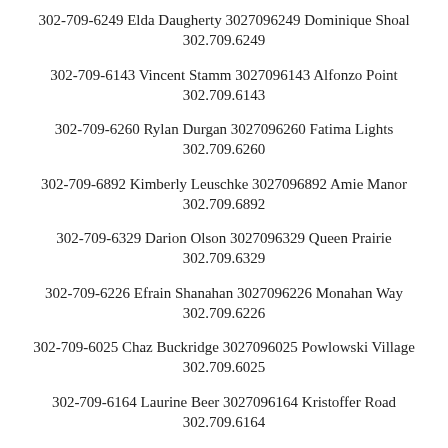302-709-6249 Elda Daugherty 3027096249 Dominique Shoal 302.709.6249
302-709-6143 Vincent Stamm 3027096143 Alfonzo Point 302.709.6143
302-709-6260 Rylan Durgan 3027096260 Fatima Lights 302.709.6260
302-709-6892 Kimberly Leuschke 3027096892 Amie Manor 302.709.6892
302-709-6329 Darion Olson 3027096329 Queen Prairie 302.709.6329
302-709-6226 Efrain Shanahan 3027096226 Monahan Way 302.709.6226
302-709-6025 Chaz Buckridge 3027096025 Powlowski Village 302.709.6025
302-709-6164 Laurine Beer 3027096164 Kristoffer Road 302.709.6164
302-709-6917 Viviane Kovacek 3027096917 Stoltenberg